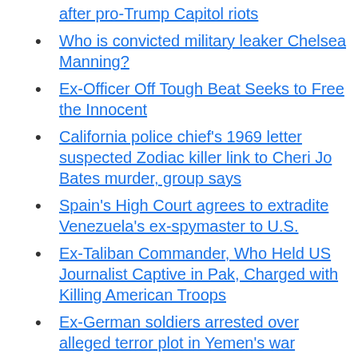after pro-Trump Capitol riots
Who is convicted military leaker Chelsea Manning?
Ex-Officer Off Tough Beat Seeks to Free the Innocent
California police chief's 1969 letter suspected Zodiac killer link to Cheri Jo Bates murder, group says
Spain's High Court agrees to extradite Venezuela's ex-spymaster to U.S.
Ex-Taliban Commander, Who Held US Journalist Captive in Pak, Charged with Killing American Troops
Ex-German soldiers arrested over alleged terror plot in Yemen's war